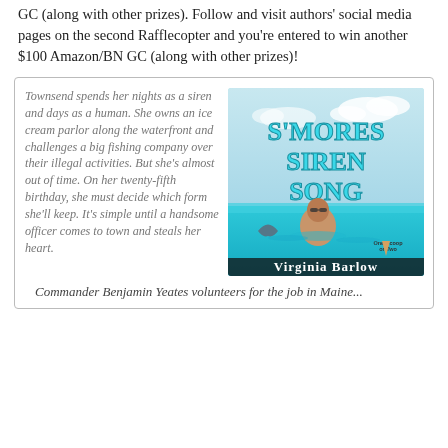Rafflecopter. You might win a $100 Amazon or Barnes and Noble GC (along with other prizes). Follow and visit authors' social media pages on the second Rafflecopter and you're entered to win another $100 Amazon/BN GC (along with other prizes)!
Townsend spends her nights as a siren and days as a human. She owns an ice cream parlor along the waterfront and challenges a big fishing company over their illegal activities. But she's almost out of time. On her twenty-fifth birthday, she must decide which form she'll keep. It's simple until a handsome officer comes to town and steals her heart.
[Figure (illustration): Book cover for 'S'mores Siren Song' by Virginia Barlow. Shows a man in turquoise ocean water with a whale tail, ice cream scoop graphic labeled 'One Scoop or Two', with title text in teal stylized font and author name in dark font at bottom.]
Commander Benjamin Yeates volunteers for the job in Maine...